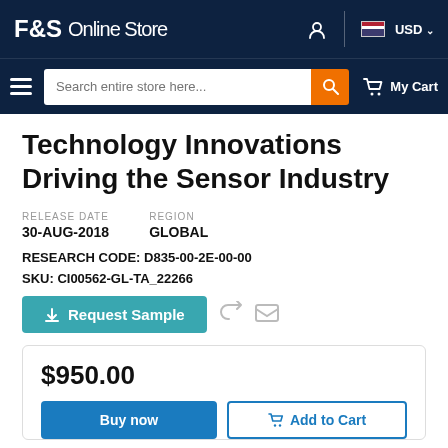F&S Online Store | USD
Technology Innovations Driving the Sensor Industry
RELEASE DATE: 30-AUG-2018  REGION: GLOBAL
RESEARCH CODE: D835-00-2E-00-00
SKU: CI00562-GL-TA_22266
$950.00
Buy now | Add to Cart